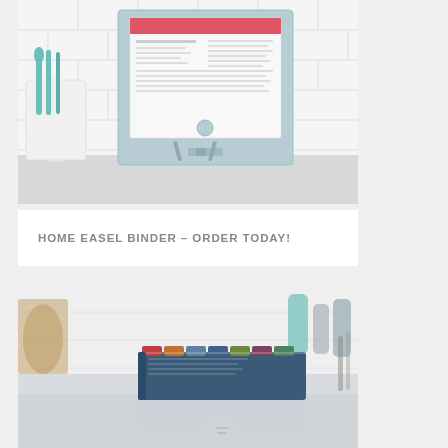[Figure (photo): A light blue easel binder standing on a white kitchen counter with a recipe page visible, teal utensils in a white canister in the background, white subway tile wall.]
HOME EASEL BINDER – ORDER TODAY!
[Figure (photo): A multi-colored tabbed binder/book lying flat on a white reflective surface, with blurred kitchen background including decorative items and bottles, white subway tile wall.]